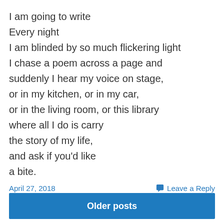I am going to write
Every night
I am blinded by so much flickering light
I chase a poem across a page and
suddenly I hear my voice on stage,
or in my kitchen, or in my car,
or in the living room, or this library
where all I do is carry
the story of my life,
and ask if you'd like
a bite.
April 27, 2018
Leave a Reply
Older posts